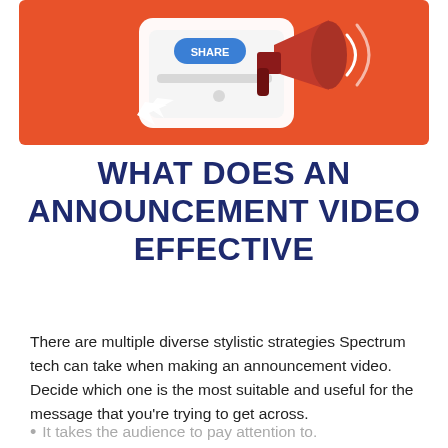[Figure (illustration): Illustration on an orange/red background showing a megaphone and a mobile phone screen with a SHARE button and an arrow cursor]
WHAT DOES AN ANNOUNCEMENT VIDEO EFFECTIVE
There are multiple diverse stylistic strategies Spectrum tech can take when making an announcement video. Decide which one is the most suitable and useful for the message that you're trying to get across.
It takes the audience to pay attention to.